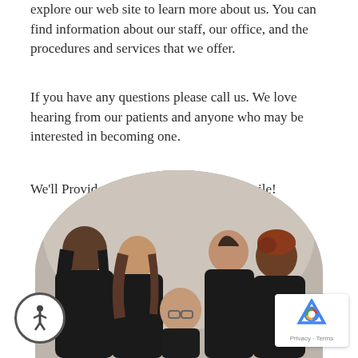explore our web site to learn more about us. You can find information about our staff, our office, and the procedures and services that we offer.
If you have any questions please call us. We love hearing from our patients and anyone who may be interested in becoming one.
We'll Provide You With That Winning Smile!
[Figure (photo): Group photo of five dental office staff members dressed in black, with a man in the center front and four women surrounding him, set against a rounded arch background.]